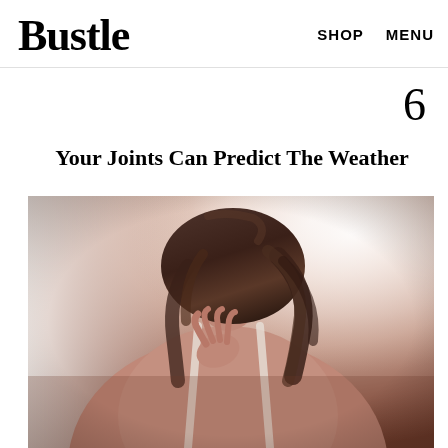Bustle   SHOP   MENU
6
Your Joints Can Predict The Weather
[Figure (photo): Woman seen from behind with shoulder-length dark brown hair, wearing a white spaghetti-strap top, touching her hair with one hand, photographed in soft light against a blurred window background.]